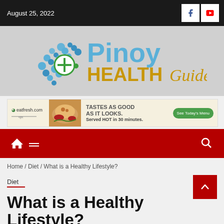August 25, 2022
[Figure (logo): Pinoy Health Guide logo with heart and plus icon, blue and gold text]
[Figure (infographic): eatfresh.com advertisement banner: food photo, 'TASTES AS GOOD AS IT LOOKS. Served HOT in 30 minutes.' with green 'See Today's Menu' button]
[Figure (other): Red navigation bar with home icon, hamburger menu lines, and search icon]
Home / Diet / What is a Healthy Lifestyle?
Diet
What is a Healthy Lifestyle?